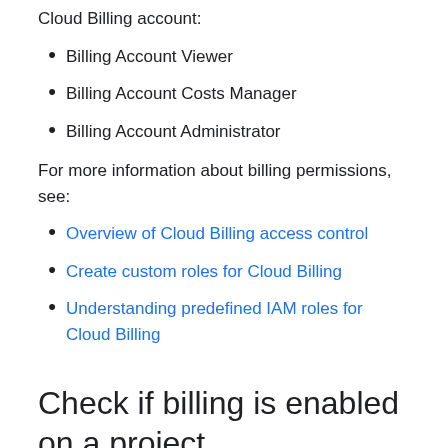Cloud Billing account:
Billing Account Viewer
Billing Account Costs Manager
Billing Account Administrator
For more information about billing permissions, see:
Overview of Cloud Billing access control
Create custom roles for Cloud Billing
Understanding predefined IAM roles for Cloud Billing
Check if billing is enabled on a project
Billing is enabled on a project if the following are true: